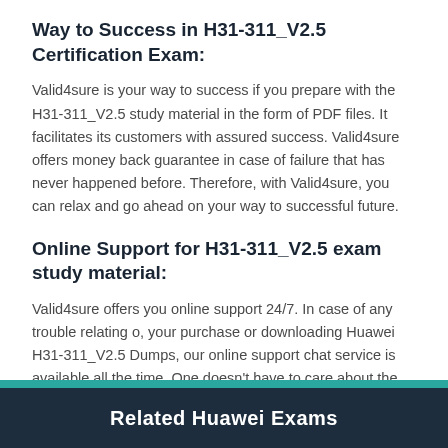Way to Success in H31-311_V2.5 Certification Exam:
Valid4sure is your way to success if you prepare with the H31-311_V2.5 study material in the form of PDF files. It facilitates its customers with assured success. Valid4sure offers money back guarantee in case of failure that has never happened before. Therefore, with Valid4sure, you can relax and go ahead on your way to successful future.
Online Support for H31-311_V2.5 exam study material:
Valid4sure offers you online support 24/7. In case of any trouble relating o, your purchase or downloading Huawei H31-311_V2.5 Dumps, our online support chat service is available all the time. One doesn't have to care about the time or late responses.
Related Huawei Exams